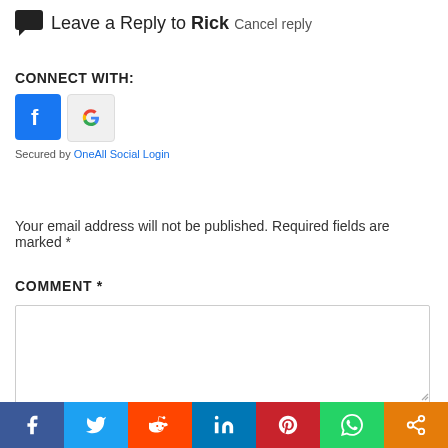Leave a Reply to Rick Cancel reply
CONNECT WITH:
[Figure (illustration): Facebook and Google social login buttons]
Secured by OneAll Social Login
Your email address will not be published. Required fields are marked *
COMMENT *
[Figure (illustration): Comment text area input box]
[Figure (infographic): Social sharing bar with Facebook, Twitter, Reddit, LinkedIn, Pinterest, WhatsApp, and Share icons]